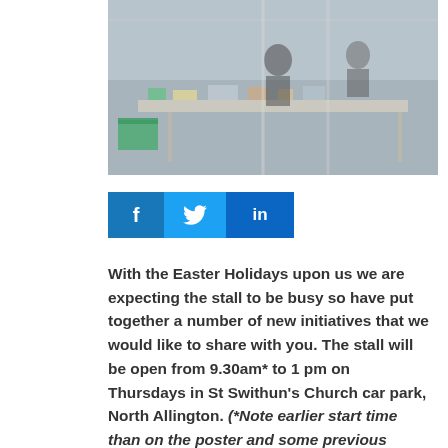[Figure (photo): Photo of a market stall inside a tent or canopy, showing tables covered with items, tubs, and people browsing.]
[Figure (infographic): Social media share buttons for Facebook (f), Twitter (bird icon), and LinkedIn (in), displayed as colored rectangular buttons in a row.]
With the Easter Holidays upon us we are expecting the stall to be busy so have put together a number of new initiatives that we would like to share with you. The stall will be open from 9.30am* to 1 pm on Thursdays in St Swithun's Church car park, North Allington. (*Note earlier start time than on the poster and some previous information)